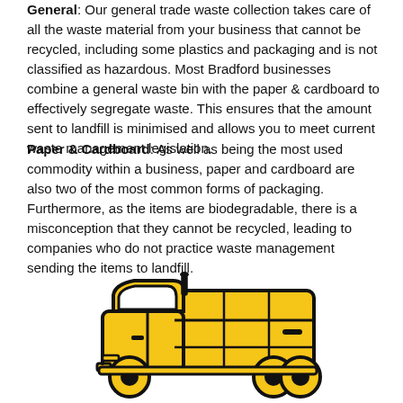General: Our general trade waste collection takes care of all the waste material from your business that cannot be recycled, including some plastics and packaging and is not classified as hazardous. Most Bradford businesses combine a general waste bin with the paper & cardboard to effectively segregate waste. This ensures that the amount sent to landfill is minimised and allows you to meet current waste management legislation.
Paper & Cardboard: As well as being the most used commodity within a business, paper and cardboard are also two of the most common forms of packaging. Furthermore, as the items are biodegradable, there is a misconception that they cannot be recycled, leading to companies who do not practice waste management sending the items to landfill.
[Figure (illustration): Yellow garbage/waste collection truck icon illustration with black outline, facing right]